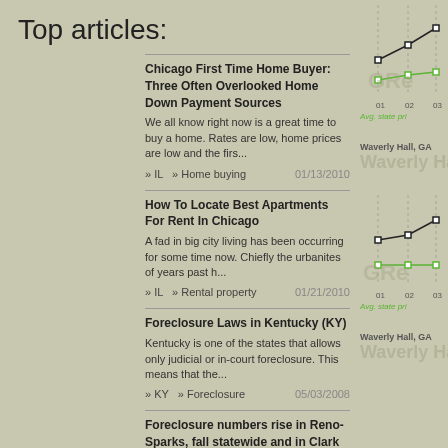Top articles:
Chicago First Time Home Buyer: Three Often Overlooked Home Down Payment Sources
We all know right now is a great time to buy a home. Rates are low, home prices are low and the firs...
» IL   » Home buying    01/13/2010
How To Locate Best Apartments For Rent In Chicago
A fad in big city living has been occurring for some time now. Chiefly the urbanites of years past h...
» IL   » Rental property    01/21/2010
Foreclosure Laws in Kentucky (KY)
Kentucky is one of the states that allows only judicial or in-court foreclosure. This means that the...
» KY   » Foreclosure    05/03/2008
Foreclosure numbers rise in Reno-Sparks, fall statewide and in Clark County
The number of foreclosures in Washoe County increased in January by 16 percent over...
[Figure (line-chart): Line chart showing avg. state price trend with green and black lines, x-axis labels 01, 02, 03]
Avg. state pri
Waverly Hall, GA
[Figure (line-chart): Second line chart showing avg. state price trend with green and black lines, x-axis labels 01, 02, 03]
Avg. state pri
Waverly Hall, GA